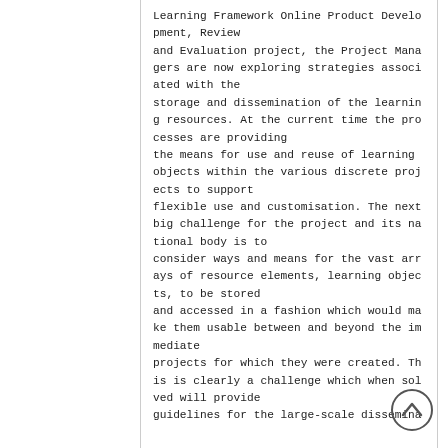Learning Framework Online Product Development, Review and Evaluation project, the Project Managers are now exploring strategies associated with the storage and dissemination of the learning resources. At the current time the processes are providing the means for use and reuse of learning objects within the various discrete projects to support flexible use and customisation. The next big challenge for the project and its national body is to consider ways and means for the vast arrays of resource elements, learning objects, to be stored and accessed in a fashion which would make them usable between and beyond the immediate projects for which they were created. This is clearly a challenge which when solved will provide guidelines for the large-scale dissemina